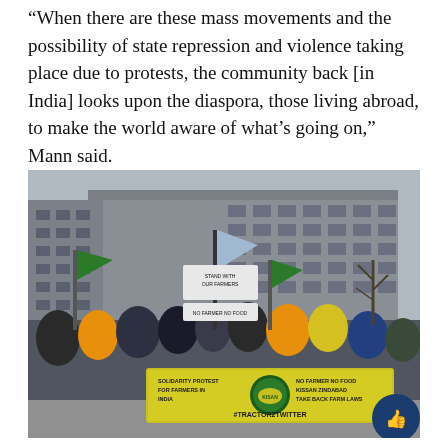“When there are these mass movements and the possibility of state repression and violence taking place due to protests, the community back [in India] looks upon the diaspora, those living abroad, to make the world aware of what’s going on,” Mann said.
[Figure (photo): Protest rally with demonstrators carrying signs and a yellow-green banner reading 'SOLIDARITY PROTEST FOR FARMERS IN INDIA / NO FARMER NO FOOD / KISSAN ZINDABAD / TAKE BACK FARM LAWS / #TRACTOR2TWITTER', in front of a large urban building.]